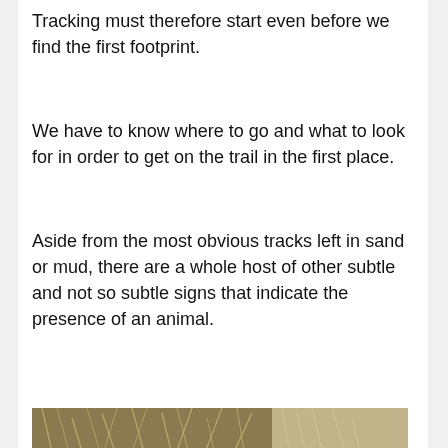Tracking must therefore start even before we find the first footprint.
We have to know where to go and what to look for in order to get on the trail in the first place.
Aside from the most obvious tracks left in sand or mud, there are a whole host of other subtle and not so subtle signs that indicate the presence of an animal.
[Figure (photo): Close-up photograph of animal droppings/scat on dry grass and leaf litter ground, with sandy soil visible on the right side showing small animal footprints.]